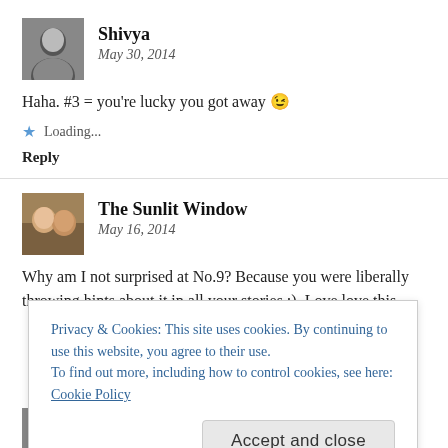[Figure (photo): Small square profile photo of Shivya, a woman with dark hair]
Shivya
May 30, 2014
Haha. #3 = you're lucky you got away 😉
Loading...
Reply
[Figure (photo): Small square profile photo of The Sunlit Window, two people]
The Sunlit Window
May 16, 2014
Why am I not surprised at No.9? Because you were liberally throwing hints about it in all your stories ;). Love love this
Privacy & Cookies: This site uses cookies. By continuing to use this website, you agree to their use.
To find out more, including how to control cookies, see here: Cookie Policy
Accept and close
[Figure (photo): Partial profile photo of Shivya at bottom of page]
Shivya